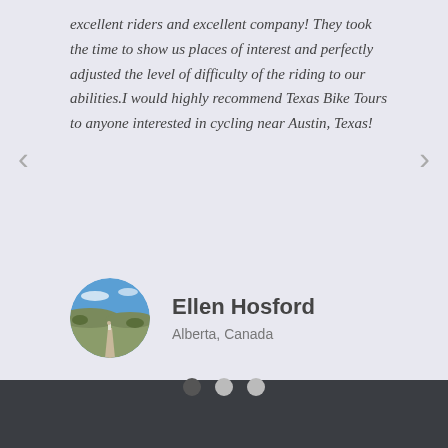excellent riders and excellent company! They took the time to show us places of interest and perfectly adjusted the level of difficulty of the riding to our abilities.I would highly recommend Texas Bike Tours to anyone interested in cycling near Austin, Texas!
[Figure (photo): Circular avatar photo of a person on a dirt road with a scenic hill country landscape and blue sky in the background.]
Ellen Hosford
Alberta, Canada